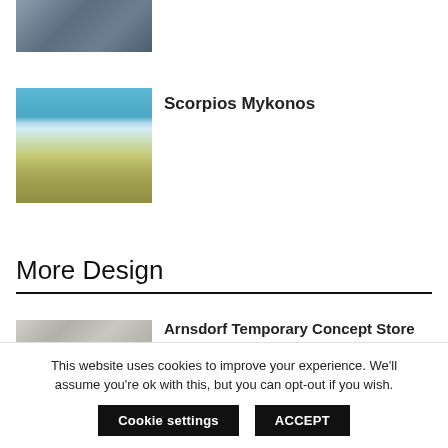[Figure (photo): Indoor scene with people walking in a large hall, blurry, dark tones]
[Figure (photo): Beach scene with thatched trees, sandy beach, blue sea and sky - Scorpios Mykonos]
Scorpios Mykonos
More Design
[Figure (photo): Outdoor winter scene with bare branches - Arnsdorf Temporary Concept Store]
Arnsdorf Temporary Concept Store
This website uses cookies to improve your experience. We'll assume you're ok with this, but you can opt-out if you wish.